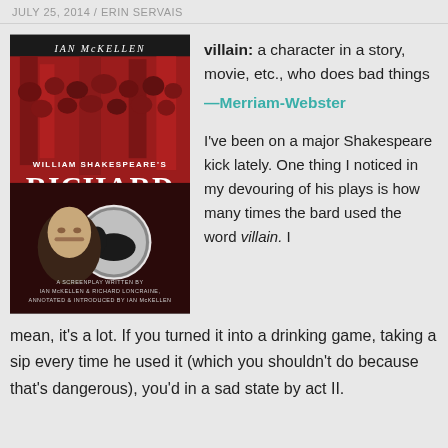JULY 25, 2014 / ERIN SERVAIS
[Figure (illustration): Book cover of William Shakespeare's Richard III, screenplay written by Ian McKellen & Richard Loncraine, annotated & introduced by Ian McKellen. Shows Ian McKellen in character with red background and a black eagle emblem.]
villain: a character in a story, movie, etc., who does bad things
—Merriam-Webster
I've been on a major Shakespeare kick lately. One thing I noticed in my devouring of his plays is how many times the bard used the word villain. I mean, it's a lot. If you turned it into a drinking game, taking a sip every time he used it (which you shouldn't do because that's dangerous), you'd in a sad state by act II.